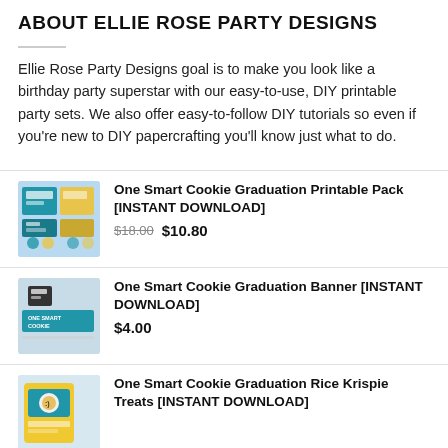ABOUT ELLIE ROSE PARTY DESIGNS
Ellie Rose Party Designs goal is to make you look like a birthday party superstar with our easy-to-use, DIY printable party sets. We also offer easy-to-follow DIY tutorials so even if you're new to DIY papercrafting you'll know just what to do.
[Figure (photo): Product thumbnail for One Smart Cookie Graduation Printable Pack]
One Smart Cookie Graduation Printable Pack [INSTANT DOWNLOAD]
$18.00  $10.80
[Figure (photo): Product thumbnail for One Smart Cookie Graduation Banner]
One Smart Cookie Graduation Banner [INSTANT DOWNLOAD]
$4.00
[Figure (photo): Product thumbnail for One Smart Cookie Graduation Rice Krispie Treats]
One Smart Cookie Graduation Rice Krispie Treats [INSTANT DOWNLOAD]